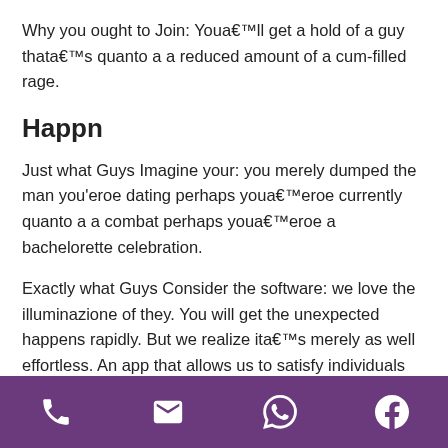Why you ought to Join: Youa€™ll get a hold of a guy thata€™s quanto a a reduced amount of a cum-filled rage.
Happn
Just what Guys Imagine your: you merely dumped the man you'eroe dating perhaps youa€™eroe currently quanto a a combat perhaps youa€™eroe a bachelorette celebration.
Exactly what Guys Consider the software: we love the illuminazione of they. You will get the unexpected happens rapidly. But we realize ita€™s merely as well effortless. An app that allows us to satisfy individuals we
[phone icon] [email icon] [whatsapp icon] [facebook icon]